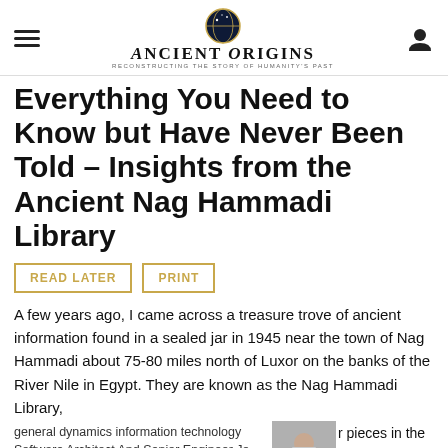Ancient Origins — Reconstructing the Story of Humanity's Past
Everything You Need to Know but Have Never Been Told – Insights from the Ancient Nag Hammadi Library
READ LATER
PRINT
A few years ago, I came across a treasure trove of ancient information found in a sealed jar in 1945 near the town of Nag Hammadi about 75-80 miles north of Luxor on the banks of the River Nile in Egypt. They are known as the Nag Hammadi Library,
general dynamics information technology Software Architect And Senior Engineer Jo… jobble.com
[Figure (photo): Advertisement photo showing a person working at a computer desk]
r pieces in the conclusions
confirmed.